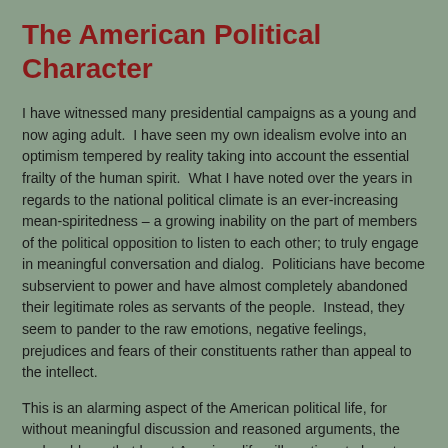The American Political Character
I have witnessed many presidential campaigns as a young and now aging adult.  I have seen my own idealism evolve into an optimism tempered by reality taking into account the essential frailty of the human spirit.  What I have noted over the years in regards to the national political climate is an ever-increasing mean-spiritedness – a growing inability on the part of members of the political opposition to listen to each other; to truly engage in meaningful conversation and dialog.  Politicians have become subservient to power and have almost completely abandoned their legitimate roles as servants of the people.  Instead, they seem to pander to the raw emotions, negative feelings, prejudices and fears of their constituents rather than appeal to the intellect.
This is an alarming aspect of the American political life, for without meaningful discussion and reasoned arguments, the real problems that haunt American life will continue to haunt us.  This uncharitable, rude, unintelligent and often hostile view of those with differing views both inside national borders and directed at entire countries that do not share our supposed values is highly